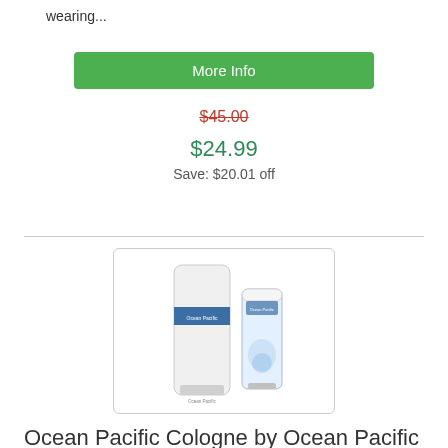wearing...
More Info
$45.00
$24.99
Save: $20.01 off
[Figure (photo): Two Ocean Pacific cologne bottles — a tall white cylindrical bottle and a shorter clear bottle with blue liquid]
Ocean Pacific Cologne by Ocean Pacific 1.7oz Eau De Toilette spray for men
Ocean Pacific Cologne by Ocean Pacific 1.7oz Eau De Toilette spray for